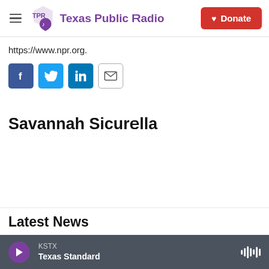Texas Public Radio | Donate
https://www.npr.org.
[Figure (other): Social sharing buttons: Facebook, Twitter, LinkedIn, Email]
Savannah Sicurella
Latest News
KSTX Texas Standard (audio player bar)